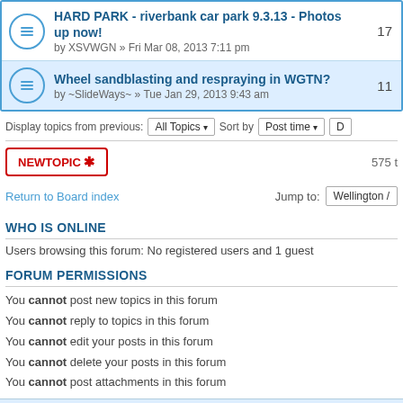HARD PARK - riverbank car park 9.3.13 - Photos up now! by XSVWGN » Fri Mar 08, 2013 7:11 pm — 17 replies
Wheel sandblasting and respraying in WGTN? by ~SlideWays~ » Tue Jan 29, 2013 9:43 am — 11 replies
Display topics from previous: All Topics Sort by Post time
NEWTOPIC ✱   575 t
Return to Board index   Jump to: Wellington /
WHO IS ONLINE
Users browsing this forum: No registered users and 1 guest
FORUM PERMISSIONS
You cannot post new topics in this forum
You cannot reply to topics in this forum
You cannot edit your posts in this forum
You cannot delete your posts in this forum
You cannot post attachments in this forum
Board index   The team • Delete all board co…   Powered by phpBB® Forum Software © phpBB Gr…